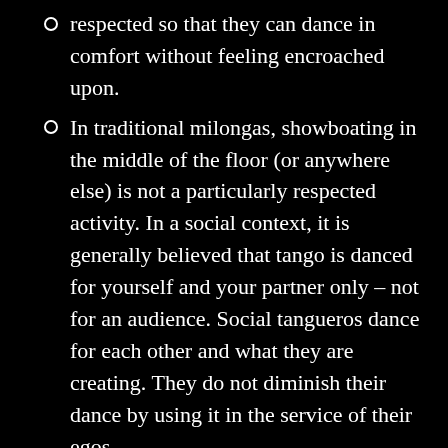respected so that they can dance in comfort without feeling encroached upon.
In traditional milongas, showboating in the middle of the floor (or anywhere else) is not a particularly respected activity. In a social context, it is generally believed that tango is danced for yourself and your partner only – not for an audience. Social tangueros dance for each other and what they are creating. They do not diminish their dance by using it in the service of their egos.
On the Dance Floor
Talking in the introduction of a song is accepted. Talking while dancing is not. Dancers are expected to honor the dance by attending to the dance